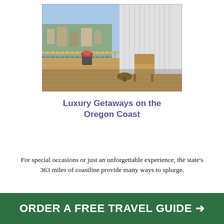[Figure (photo): A balcony or deck overlooking a coastal waterfront town, with wicker chairs, potted flowers, and a city view in the background with a harbor.]
Luxury Getaways on the Oregon Coast
For special occasions or just an unforgettable experience, the state's 363 miles of coastline provide many ways to splurge.
ORDER A FREE TRAVEL GUIDE →